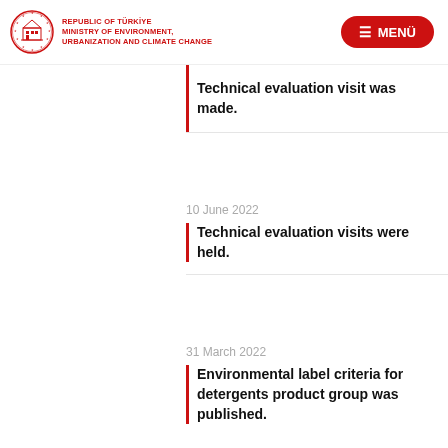REPUBLIC OF TÜRKİYE MINISTRY OF ENVIRONMENT, URBANIZATION AND CLIMATE CHANGE | MENÜ
Technical evaluation visit was made.
10 June 2022
Technical evaluation visits were held.
31 March 2022
Environmental label criteria for detergents product group was published.